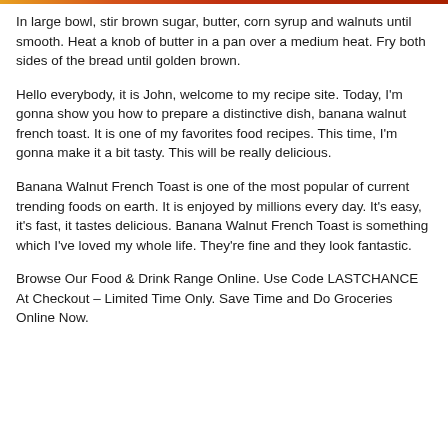In large bowl, stir brown sugar, butter, corn syrup and walnuts until smooth. Heat a knob of butter in a pan over a medium heat. Fry both sides of the bread until golden brown.
Hello everybody, it is John, welcome to my recipe site. Today, I'm gonna show you how to prepare a distinctive dish, banana walnut french toast. It is one of my favorites food recipes. This time, I'm gonna make it a bit tasty. This will be really delicious.
Banana Walnut French Toast is one of the most popular of current trending foods on earth. It is enjoyed by millions every day. It's easy, it's fast, it tastes delicious. Banana Walnut French Toast is something which I've loved my whole life. They're fine and they look fantastic.
Browse Our Food & Drink Range Online. Use Code LASTCHANCE At Checkout – Limited Time Only. Save Time and Do Groceries Online Now.